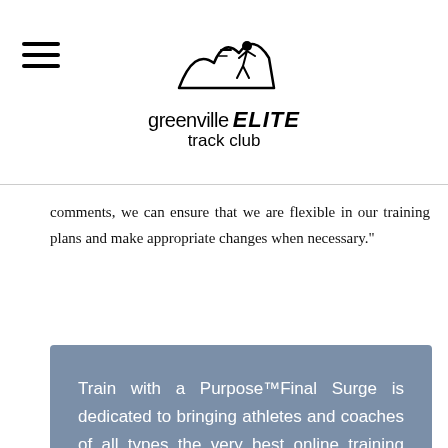Greenville Elite Track Club
comments, we can ensure that we are flexible in our training plans and make appropriate changes when necessary."
Train with a Purpose™Final Surge is dedicated to bringing athletes and coaches of all types the very best online training product on the market. Founded and created by both athletes and coaches, we